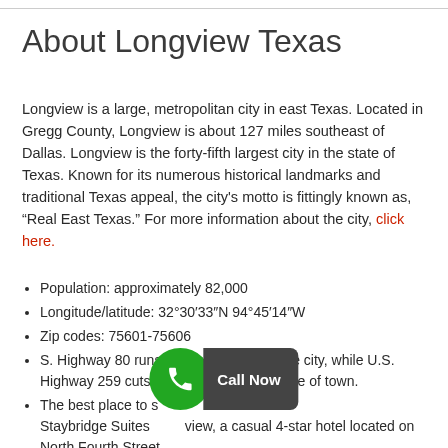About Longview Texas
Longview is a large, metropolitan city in east Texas. Located in Gregg County, Longview is about 127 miles southeast of Dallas. Longview is the forty-fifth largest city in the state of Texas. Known for its numerous historical landmarks and traditional Texas appeal, the city's motto is fittingly known as, “Real East Texas.” For more information about the city, click here.
Population: approximately 82,000
Longitude/latitude: 32°30′33″N 94°45′14″W
Zip codes: 75601-75606
S. Highway 80 runs east-west through the city, while U.S. Highway 259 cuts through the eastern side of town.
The best place to stay in Longview is the Staybridge Suites Longview, a casual 4-star hotel located on North Fourth Street.
The East Texas Regional Airport, located at 269...